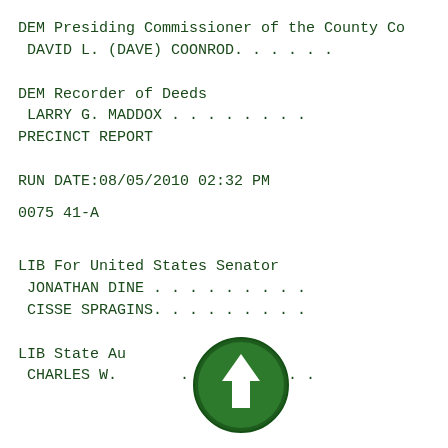DEM Presiding Commissioner of the County Co
 DAVID L. (DAVE) COONROD. . . . . .
DEM Recorder of Deeds
 LARRY G. MADDOX . . . . . . . .
PRECINCT REPORT
RUN DATE:08/05/2010 02:32 PM
0075 41-A
LIB For United States Senator
 JONATHAN DINE . . . . . . . . .
 CISSE SPRAGINS. . . . . . . . .
LIB State Au
 CHARLES W. . . . . . . . .
[Figure (illustration): Green circular button with white upward-pointing arrow icon (upload/scroll-up button)]